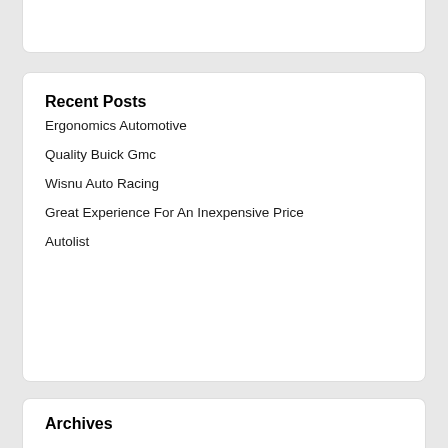Recent Posts
Ergonomics Automotive
Quality Buick Gmc
Wisnu Auto Racing
Great Experience For An Inexpensive Price
Autolist
Archives